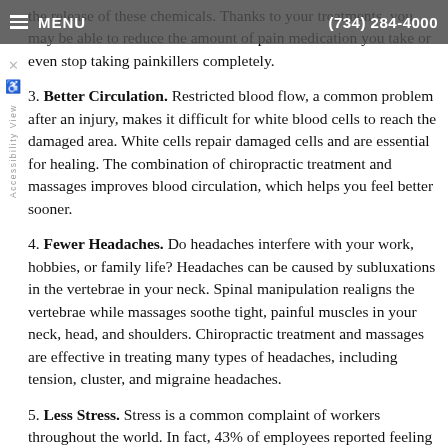MENU | (734) 284-4000
the release of these chemicals. Thanks to your treatments, you may be able to reduce the amount of pain medication you take or even stop taking painkillers completely.
3. Better Circulation. Restricted blood flow, a common problem after an injury, makes it difficult for white blood cells to reach the damaged area. White cells repair damaged cells and are essential for healing. The combination of chiropractic treatment and massages improves blood circulation, which helps you feel better sooner.
4. Fewer Headaches. Do headaches interfere with your work, hobbies, or family life? Headaches can be caused by subluxations in the vertebrae in your neck. Spinal manipulation realigns the vertebrae while massages soothe tight, painful muscles in your neck, head, and shoulders. Chiropractic treatment and massages are effective in treating many types of headaches, including tension, cluster, and migraine headaches.
5. Less Stress. Stress is a common complaint of workers throughout the world. In fact, 43% of employees reported feeling stressed in Gallup's 2021 State of the Global